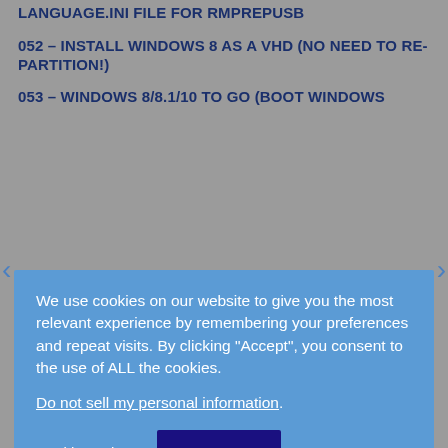LANGUAGE.INI FILE FOR RMPREPUSB
052 – INSTALL WINDOWS 8 AS A VHD (NO NEED TO RE-PARTITION!)
053 – WINDOWS 8/8.1/10 TO GO (BOOT WINDOWS
We use cookies on our website to give you the most relevant experience by remembering your preferences and repeat visits. By clicking "Accept", you consent to the use of ALL the cookies.
Do not sell my personal information.
057 – AUTOMATIC GRUB4DOS MENUS, USING HOTKEYS, HIDING THE MENU AND SILENT STARTUP
058 – TRINITY RESCUE KIT – BOOT FROM USB